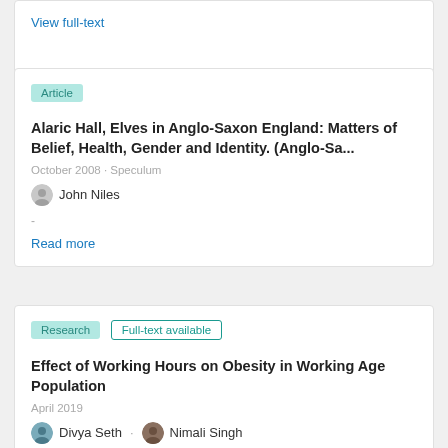View full-text
Article
Alaric Hall, Elves in Anglo-Saxon England: Matters of Belief, Health, Gender and Identity. (Anglo-Sa...
October 2008 · Speculum
John Niles
-
Read more
Research   Full-text available
Effect of Working Hours on Obesity in Working Age Population
April 2019
Divya Seth · Nimali Singh